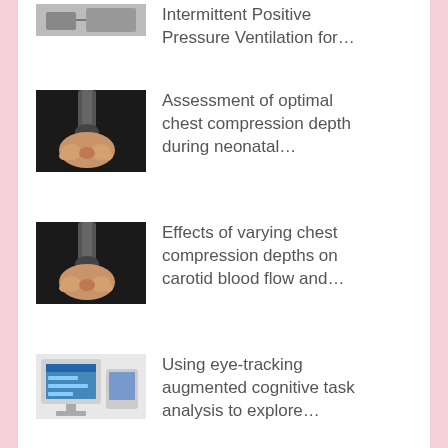Intermittent Positive Pressure Ventilation for…
Assessment of optimal chest compression depth during neonatal…
Effects of varying chest compression depths on carotid blood flow and…
Using eye-tracking augmented cognitive task analysis to explore…